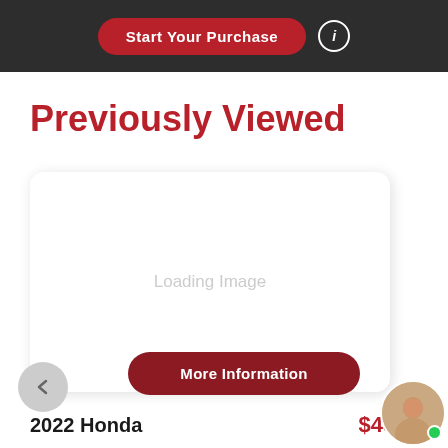Start Your Purchase
Previously Viewed
[Figure (other): Loading Image placeholder card with rounded corners and shadow]
More Information
2022 Honda   $43,674